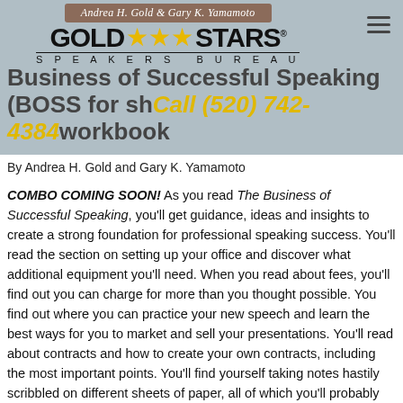[Figure (logo): Gold Stars Speakers Bureau logo with author ribbon reading 'Andrea H. Gold & Gary K. Yamamoto']
Business of Successful Speaking (BOSS for short), BOSS workbook
By Andrea H. Gold and Gary K. Yamamoto
COMBO COMING SOON! As you read The Business of Successful Speaking, you'll get guidance, ideas and insights to create a strong foundation for professional speaking success. You'll read the section on setting up your office and discover what additional equipment you'll need. When you read about fees, you'll find out you can charge for more than you thought possible. You find out where you can practice your new speech and learn the best ways for you to market and sell your presentations. You'll read about contracts and how to create your own contracts, including the most important points. You'll find yourself taking notes hastily scribbled on different sheets of paper, all of which you'll probably stick into your book for later reference as you work on becoming a successful